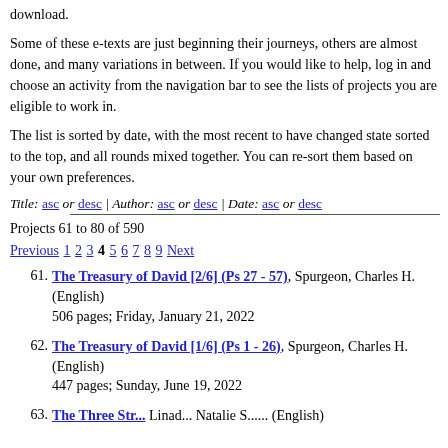download.
Some of these e-texts are just beginning their journeys, others are almost done, and many variations in between. If you would like to help, log in and choose an activity from the navigation bar to see the lists of projects you are eligible to work in.
The list is sorted by date, with the most recent to have changed state sorted to the top, and all rounds mixed together. You can re-sort them based on your own preferences.
Title: asc or desc | Author: asc or desc | Date: asc or desc
Projects 61 to 80 of 590
Previous 1 2 3 4 5 6 7 8 9 Next
61. The Treasury of David [2/6] (Ps 27 - 57), Spurgeon, Charles H. (English)
506 pages; Friday, January 21, 2022
62. The Treasury of David [1/6] (Ps 1 - 26), Spurgeon, Charles H. (English)
447 pages; Sunday, June 19, 2022
63. The Three Str...